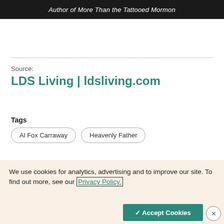[Figure (photo): Dark banner image with italic white text: Author of More Than the Tattooed Mormon]
Source:
LDS Living | ldsliving.com
Tags
Al Fox Carraway
Heavenly Father
Share
We use cookies for analytics, advertising and to improve our site. To find out more, see our Privacy Policy.